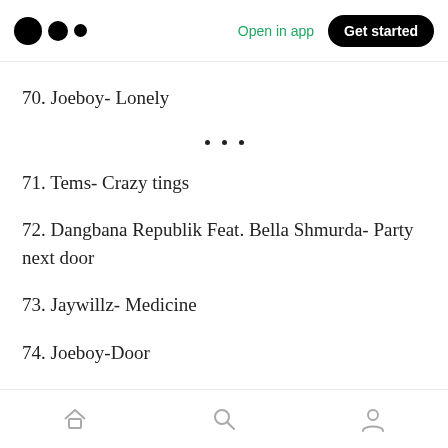Open in app | Get started
70. Joeboy- Lonely
71. Tems- Crazy tings
72. Dangbana Republik Feat. Bella Shmurda- Party next door
73. Jaywillz- Medicine
74. Joeboy-Door
75. Mr Eazi- The Doc...